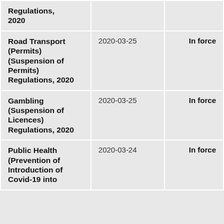| Regulations,
2020 |  |  |
| Road Transport (Permits) (Suspension of Permits) Regulations, 2020 | 2020-03-25 | In force |
| Gambling (Suspension of Licences) Regulations, 2020 | 2020-03-25 | In force |
| Public Health (Prevention of Introduction of Covid-19 into | 2020-03-24 | In force |